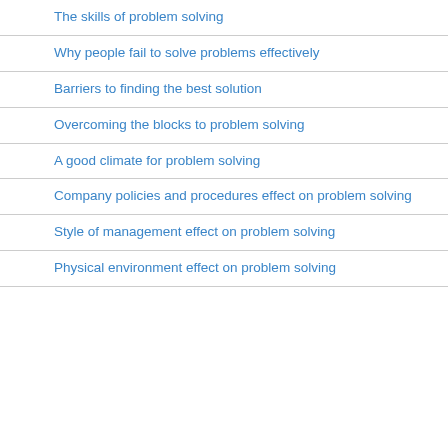The skills of problem solving
Why people fail to solve problems effectively
Barriers to finding the best solution
Overcoming the blocks to problem solving
A good climate for problem solving
Company policies and procedures effect on problem solving
Style of management effect on problem solving
Physical environment effect on problem solving